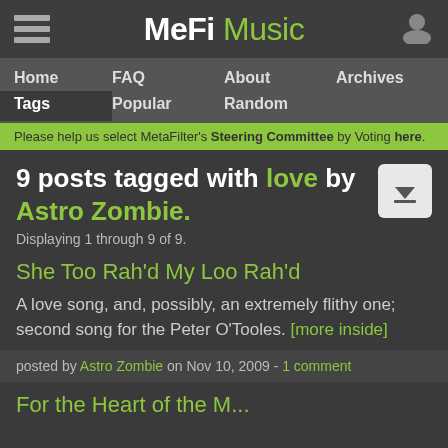MeFi Music
Home
FAQ
About
Archives
Tags
Popular
Random
Please help us select MetaFilter's Steering Committee by Voting here.
9 posts tagged with love by Astro Zombie.
Displaying 1 through 9 of 9.
She Too Rah'd My Loo Rah'd
A love song, and, possibly, an extremely flithy one; second song for the Peter O'Tooles. [more inside]
posted by Astro Zombie on Nov 10, 2009 - 1 comment
For the Heart of the M...